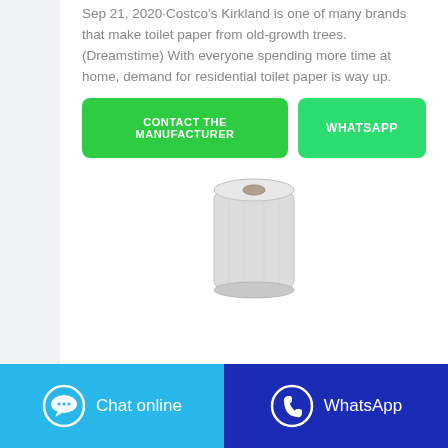Sep 21, 2020·Costco's Kirkland is one of many brands that make toilet paper from old-growth trees. (Dreamstime) With everyone spending more time at home, demand for residential toilet paper is way up.
[Figure (other): Two green buttons: 'CONTACT THE MANUFACTURER' and 'WHATSAPP']
[Figure (photo): A roll of white toilet paper / paper towel roll standing upright]
[Figure (other): Footer bar with two buttons: 'Chat online' (light blue) and 'WhatsApp' (dark blue)]